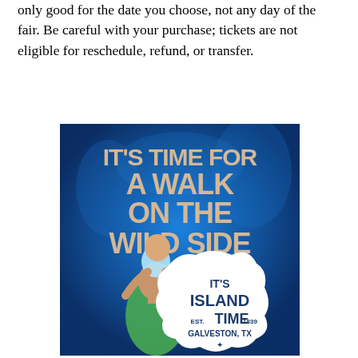only good for the date you choose, not any day of the fair. Be careful with your purchase; tickets are not eligible for reschedule, refund, or transfer.
[Figure (photo): Advertisement image with blue aquarium background showing a man with a child on his shoulders looking up. Bold text reads 'IT'S TIME FOR A WALK ON THE WILD SIDE' and a badge reads 'IT'S ISLAND TIME EST. 1839 GALVESTON, TX']